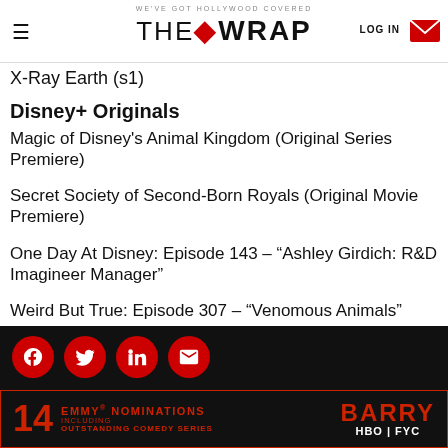WE'VE GOT HOLLYWOOD COVERED | THE WRAP | LOG IN
X-Ray Earth (s1)
Disney+ Originals
Magic of Disney's Animal Kingdom (Original Series Premiere)
Secret Society of Second-Born Royals (Original Movie Premiere)
One Day At Disney: Episode 143 – “Ashley Girdich: R&D Imagineer Manager”
Weird But True: Episode 307 – “Venomous Animals”
[Figure (screenshot): Bottom bar with social media icons (Facebook, Twitter, LinkedIn, email) on dark background, and an advertisement for BARRY on HBO FYC with 14 Emmy Nominations including Outstanding Comedy Series]